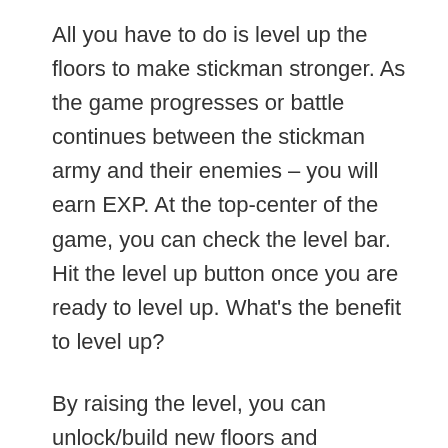All you have to do is level up the floors to make stickman stronger. As the game progresses or battle continues between the stickman army and their enemies – you will earn EXP. At the top-center of the game, you can check the level bar. Hit the level up button once you are ready to level up. What's the benefit to level up?
By raising the level, you can unlock/build new floors and stickman. For example – To unlock floor/gate number 6, you need to reach level 20. More floors and stickman means more money. Use the money to make